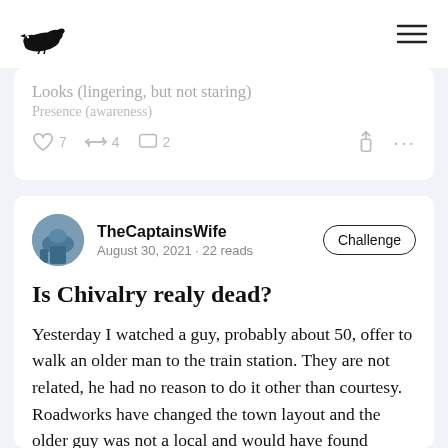[Figure (logo): Black crow/raven logo icon in top left nav bar]
[Figure (other): Hamburger menu icon (three horizontal lines) in top right nav bar]
Looks (lingering, but not staring)
Presence (awareness)
7  4  2
TheCaptainsWife
August 30, 2021 • 22 reads
Challenge
Is Chivalry realy dead?
Yesterday I watched a guy, probably about 50, offer to walk an older man to the train station. They are not related, he had no reason to do it other than courtesy. Roadworks have changed the town layout and the older guy was not a local and would have found getting across town a challenge.